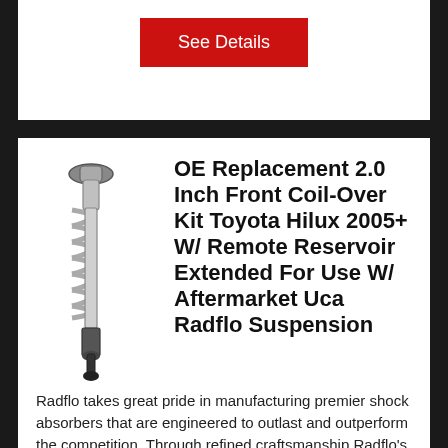[Figure (other): Red See Details button (top, partially visible)]
[Figure (photo): Image of a coilover shock absorber assembly, silver and black]
OE Replacement 2.0 Inch Front Coil-Over Kit Toyota Hilux 2005+ W/ Remote Reservoir Extended For Use W/ Aftermarket Uca Radflo Suspension
Radflo takes great pride in manufacturing premier shock absorbers that are engineered to outlast and outperform the competition. Through refined craftsmanship Radflo's products are built to order...More Details »
Item #: 5CT-006-1R
[Figure (other): Red See Details button (bottom)]